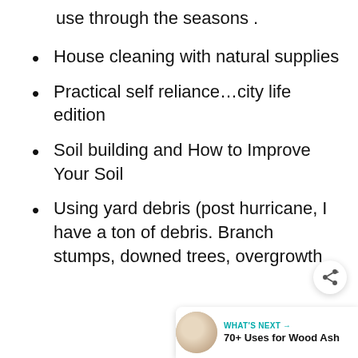use through the seasons .
House cleaning with natural supplies
Practical self reliance…city life edition
Soil building and How to Improve Your Soil
Using yard debris (post hurricane, I have a ton of debris. Branches, stumps, downed trees, overgrowth
[Figure (infographic): Share button icon and 'What's Next' widget showing '70+ Uses for Wood Ash' with a thumbnail image]